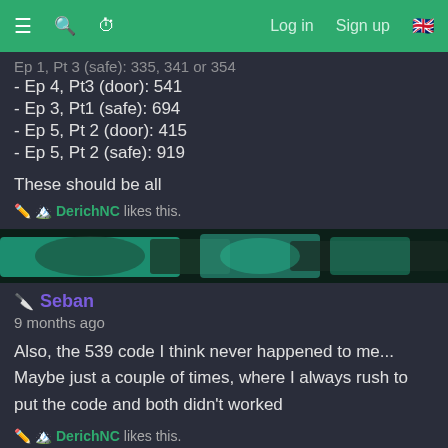≡  🔍  ⏱  Log in  Sign up  🇬🇧
Ep 1, Pt 3 (safe): 335, 341 or 354
- Ep 4, Pt3 (door): 541
- Ep 3, Pt1 (safe): 694
- Ep 5, Pt 2 (door): 415
- Ep 5, Pt 2 (safe): 919
These should be all
✏️ 🏔️ DerichNC likes this.
[Figure (photo): Avatar image strip showing teal/cyan colored artwork]
🔪 Seban
9 months ago
Also, the 539 code I think never happened to me... Maybe just a couple of times, where I always rush to put the code and both didn't worked
✏️ 🏔️ DerichNC likes this.
[Figure (photo): Second avatar image strip]
🧙 ✏️ 🏔️ DerichNC